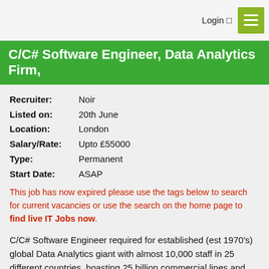Login ☺
C/C# Software Engineer, Data Analytics Firm,
| Recruiter: | Noir |
| Listed on: | 20th June |
| Location: | London |
| Salary/Rate: | Upto £55000 |
| Type: | Permanent |
| Start Date: | ASAP |
This job has now expired please use the tags below to search for current vacancies or use the search on the home page to find live IT Jobs now.
C/C# Software Engineer required for established (est 1970's) global Data Analytics giant with almost 10,000 staff in 25 different countries, boasting 25 billion commercial lines and 35,000 users of their products head quartered in the City of London! This technology leader invest heavily in product evolution and work closely with clients on a growing range of